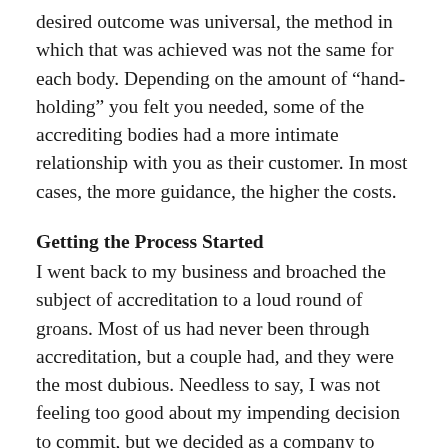desired outcome was universal, the method in which that was achieved was not the same for each body. Depending on the amount of “hand-holding” you felt you needed, some of the accrediting bodies had a more intimate relationship with you as their customer. In most cases, the more guidance, the higher the costs.
Getting the Process Started
I went back to my business and broached the subject of accreditation to a loud round of groans. Most of us had never been through accreditation, but a couple had, and they were the most dubious. Needless to say, I was not feeling too good about my impending decision to commit, but we decided as a company to pursue JCAHO (Joint Commission on the Accreditation of Healthcare Organizations) accreditation.
At that time, we did not know who would be considered